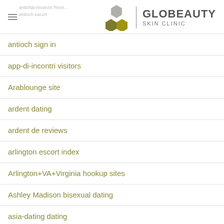Globeauty Skin Clinic
antioch sign in
app-di-incontri visitors
Arablounge site
ardent dating
ardent de reviews
arlington escort index
Arlington+VA+Virginia hookup sites
Ashley Madison bisexual dating
asia-dating dating
asiame review